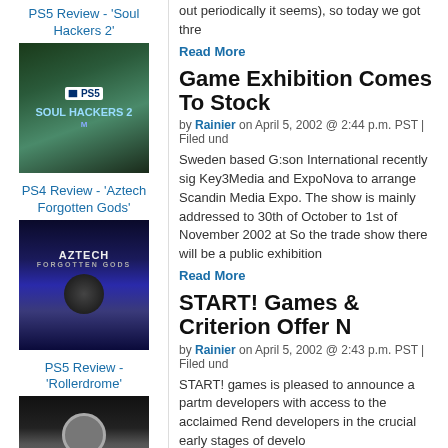PS5 Review - 'Soul Hackers 2'
[Figure (photo): Soul Hackers 2 PS5 game cover art]
PS4 Review - 'Aztech Forgotten Gods'
[Figure (photo): Aztech Forgotten Gods PS4 game cover art]
PS5 Review - 'Rollerdrome'
[Figure (photo): Rollerdrome PS5 game cover art (partial)]
out periodically it seems), so today we got thre
Read More
Game Exhibition Comes To Stock
by Rainier on April 5, 2002 @ 2:44 p.m. PST | Filed und
Sweden based G:son International recently sig Key3Media and ExpoNova to arrange Scandin Media Expo. The show is mainly addressed to 30th of October to 1st of November 2002 at So the trade show there will be a public exhibition
Read More
START! Games & Criterion Offer N
by Rainier on April 5, 2002 @ 2:43 p.m. PST | Filed und
START! games is pleased to announce a partm developers with access to the acclaimed Rend developers in the crucial early stages of develo
Read More
Rage Signs External Developmen
by Rainier on April 5, 2002 @ 1:20 p.m. PST | Filed und
Rage, one of the UK's leading publishers and d it has entered into a number of individual agre